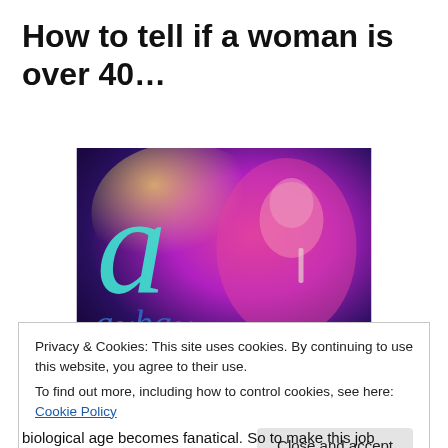How to tell if a woman is over 40…
[Figure (photo): A concert screen showing the a-ha band logo in large colorful letters (cyan, blue, green) overlaid on a pink/magenta-lit performer singing into a microphone, with a purple and yellow haze background.]
Privacy & Cookies: This site uses cookies. By continuing to use this website, you agree to their use.
To find out more, including how to control cookies, see here: Cookie Policy
biological age becomes fanatical. So to make this job